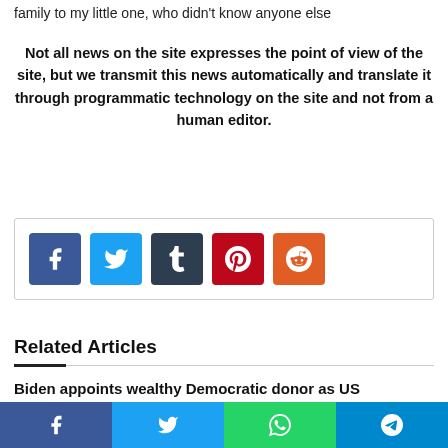family to my little one, who didn't know anyone else
Not all news on the site expresses the point of view of the site, but we transmit this news automatically and translate it through programmatic technology on the site and not from a human editor.
[Figure (infographic): Social share buttons: Facebook (blue), Twitter (light blue), Tumblr (dark navy), Pinterest (red), Reddit (orange)]
Related Articles
Biden appoints wealthy Democratic donor as US ambassador to UK | Biden
Facebook | Twitter | WhatsApp | Telegram